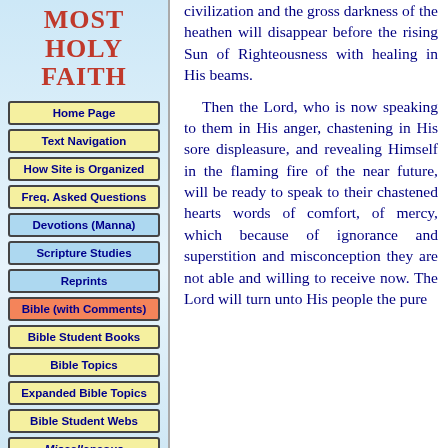MOST HOLY FAITH
Home Page
Text Navigation
How Site is Organized
Freq. Asked Questions
Devotions (Manna)
Scripture Studies
Reprints
Bible (with Comments)
Bible Student Books
Bible Topics
Expanded Bible Topics
Bible Student Webs
Miscellaneous
civilization and the gross darkness of the heathen will disappear before the rising Sun of Righteousness with healing in His beams.

Then the Lord, who is now speaking to them in His anger, chastening in His sore displeasure, and revealing Himself in the flaming fire of the near future, will be ready to speak to their chastened hearts words of comfort, of mercy, which because of ignorance and superstition and misconception they are not able and willing to receive now. The Lord will turn unto His people the pure